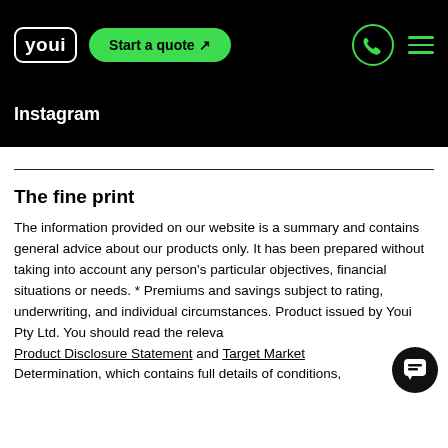youi  Start a quote ↗
Instagram
The fine print
The information provided on our website is a summary and contains general advice about our products only. It has been prepared without taking into account any person's particular objectives, financial situations or needs. * Premiums and savings subject to rating, underwriting, and individual circumstances. Product issued by Youi Pty Ltd. You should read the relevant Product Disclosure Statement and Target Market Determination, which contains full details of conditions,